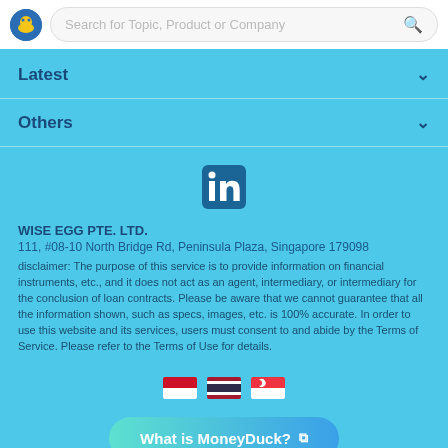Search for Topic, Product or Company
Latest
Others
[Figure (logo): LinkedIn logo icon in a blue square]
WISE EGG PTE. LTD.
111, #08-10 North Bridge Rd, Peninsula Plaza, Singapore 179098
disclaimer: The purpose of this service is to provide information on financial instruments, etc., and it does not act as an agent, intermediary, or intermediary for the conclusion of loan contracts. Please be aware that we cannot guarantee that all the information shown, such as specs, images, etc. is 100% accurate. In order to use this website and its services, users must consent to and abide by the Terms of Service. Please refer to the Terms of Use for details.
[Figure (illustration): Three country flag icons: Indonesia, Thailand, Singapore]
What is MoneyDuck?
About MoneyDuck for Experts